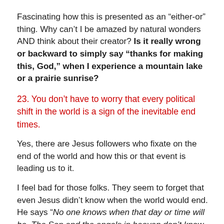Fascinating how this is presented as an “either-or” thing. Why can’t I be amazed by natural wonders AND think about their creator? Is it really wrong or backward to simply say “thanks for making this, God,” when I experience a mountain lake or a prairie sunrise?
23. You don’t have to worry that every political shift in the world is a sign of the inevitable end times.
Yes, there are Jesus followers who fixate on the end of the world and how this or that event is leading us to it.
I feel bad for those folks. They seem to forget that even Jesus didn’t know when the world would end. He says “No one knows when that day or time will be. The Son and the angels in heaven don’t know when it will be. Only the Father knows.”